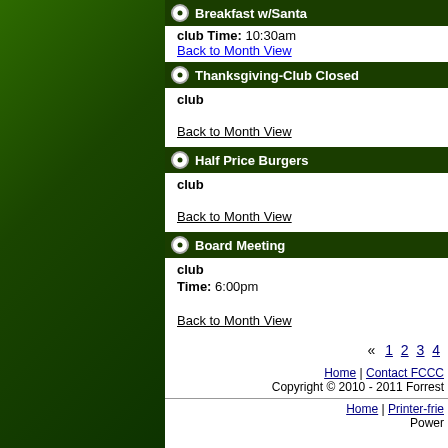Breakfast w/Santa
club
Time: 10:30am
Back to Month View
Thanksgiving-Club Closed
club
Back to Month View
Half Price Burgers
club
Back to Month View
Board Meeting
club
Time: 6:00pm
Back to Month View
« 1 2 3 4
Home | Contact FCCC
Copyright © 2010 - 2011 Forrest...
Home | Printer-frie...
Power...